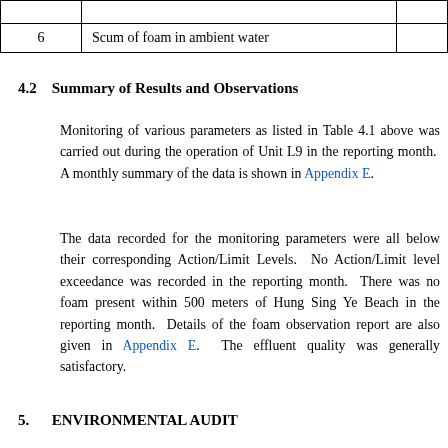| 6 | Scum of foam in ambient water |  |
4.2    Summary of Results and Observations
Monitoring of various parameters as listed in Table 4.1 above was carried out during the operation of Unit L9 in the reporting month.  A monthly summary of the data is shown in Appendix E.
The data recorded for the monitoring parameters were all below their corresponding Action/Limit Levels.  No Action/Limit level exceedance was recorded in the reporting month.  There was no foam present within 500 meters of Hung Sing Ye Beach in the reporting month.  Details of the foam observation report are also given in Appendix E.  The effluent quality was generally satisfactory.
5.    ENVIRONMENTAL AUDIT